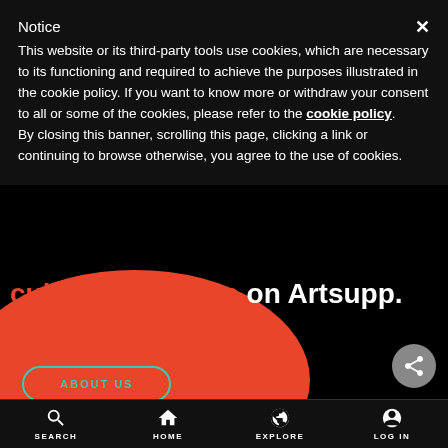Notice
This website or its third-party tools use cookies, which are necessary to its functioning and required to achieve the purposes illustrated in the cookie policy. If you want to know more or withdraw your consent to all or some of the cookies, please refer to the cookie policy. By closing this banner, scrolling this page, clicking a link or continuing to browse otherwise, you agree to the use of cookies.
cultural activities on Artsupp.
ABOUT US
[Figure (screenshot): Share/forward button icon (circular grey button with arrow)]
SEARCH   HOME   EXPLORE   LOG IN